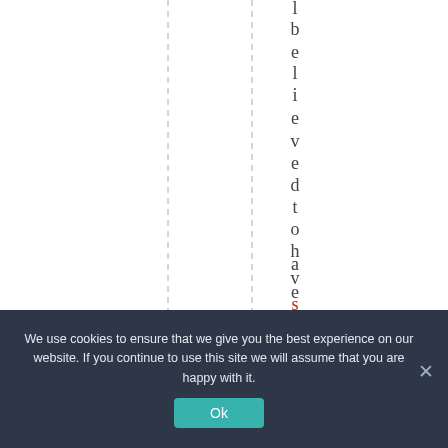[Figure (other): White background area with two vertical dashed lines and vertical text reading 'lbelievedtohaveso' where 'so' appears in red, rendered character by character top to bottom]
We use cookies to ensure that we give you the best experience on our website. If you continue to use this site we will assume that you are happy with it.